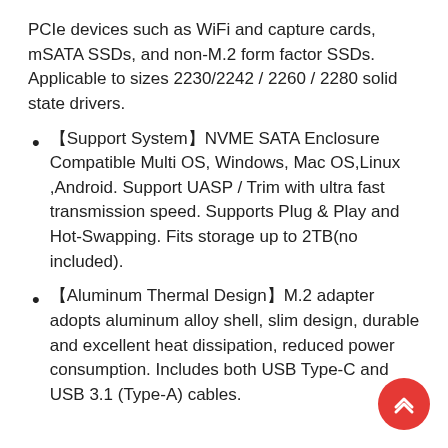PCIe devices such as WiFi and capture cards, mSATA SSDs, and non-M.2 form factor SSDs. Applicable to sizes 2230/2242 / 2260 / 2280 solid state drivers.
【Support System】NVME SATA Enclosure Compatible Multi OS, Windows, Mac OS,Linux ,Android. Support UASP / Trim with ultra fast transmission speed. Supports Plug & Play and Hot-Swapping. Fits storage up to 2TB(no included).
【Aluminum Thermal Design】M.2 adapter adopts aluminum alloy shell, slim design, durable and excellent heat dissipation, reduced power consumption. Includes both USB Type-C and USB 3.1 (Type-A) cables.